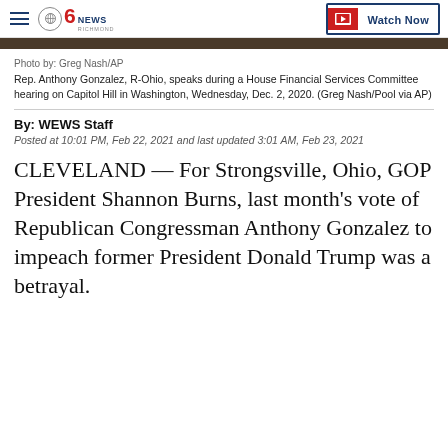CBS 6 NEWS RICHMOND — Watch Now
Photo by: Greg Nash/AP
Rep. Anthony Gonzalez, R-Ohio, speaks during a House Financial Services Committee hearing on Capitol Hill in Washington, Wednesday, Dec. 2, 2020. (Greg Nash/Pool via AP)
By: WEWS Staff
Posted at 10:01 PM, Feb 22, 2021 and last updated 3:01 AM, Feb 23, 2021
CLEVELAND — For Strongsville, Ohio, GOP President Shannon Burns, last month's vote of Republican Congressman Anthony Gonzalez to impeach former President Donald Trump was a betrayal.